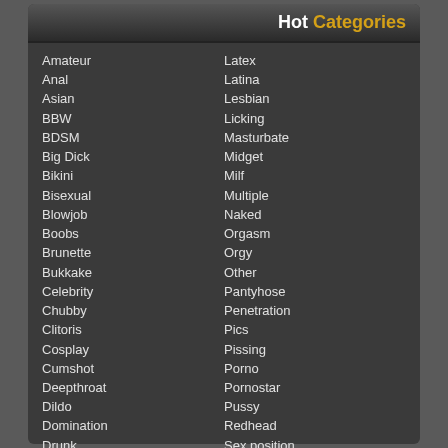Hot Categories
Amateur
Anal
Asian
BBW
BDSM
Big Dick
Bikini
Bisexual
Blowjob
Boobs
Brunette
Bukkake
Celebrity
Chubby
Clitoris
Cosplay
Cumshot
Deepthroat
Dildo
Domination
Drunk
Ebony
Erotic
Facial
Femdom
Fetish
Fisting
Latex
Latina
Lesbian
Licking
Masturbate
Midget
Milf
Multiple
Naked
Orgasm
Orgy
Other
Pantyhose
Penetration
Pics
Pissing
Porno
Pornostar
Pussy
Redhead
Sex position
Shaved
Shower
Slut
Solo
Spank
Strip